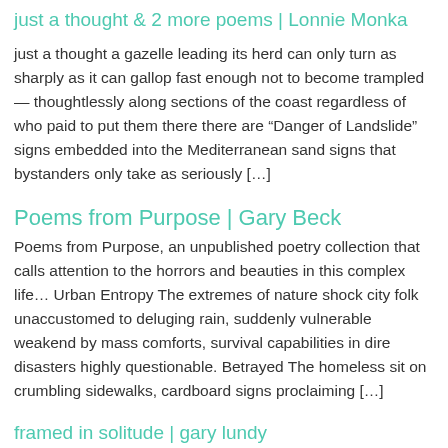just a thought & 2 more poems | Lonnie Monka
just a thought a gazelle leading its herd can only turn as sharply as it can gallop fast enough not to become trampled — thoughtlessly along sections of the coast regardless of who paid to put them there there are “Danger of Landslide” signs embedded into the Mediterranean sand signs that bystanders only take as seriously [...]
Poems from Purpose | Gary Beck
Poems from Purpose, an unpublished poetry collection that calls attention to the horrors and beauties in this complex life… Urban Entropy The extremes of nature shock city folk unaccustomed to deluging rain, suddenly vulnerable weakend by mass comforts, survival capabilities in dire disasters highly questionable. Betrayed The homeless sit on crumbling sidewalks, cardboard signs proclaiming [...]
framed in solitude | gary lundy
[Figure (photo): Black and white photograph strip at the bottom of the page, partially visible, showing indistinct figures or faces.]